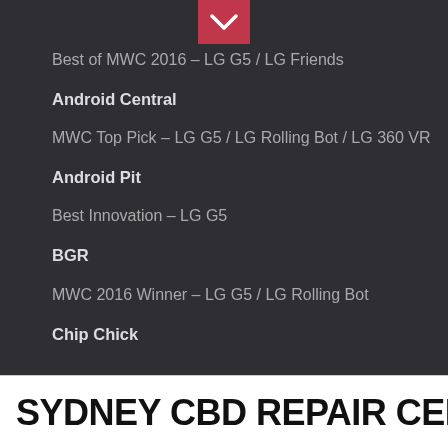[Figure (other): Pink/red downward chevron arrow button at top center of dark navigation area]
Best of MWC 2016 – LG G5 / LG Friends
Android Central
MWC Top Pick – LG G5 / LG Rolling Bot / LG 360 VR
Android Pit
Best Innovation – LG G5
BGR
MWC 2016 Winner – LG G5 / LG Rolling Bot
Chip Chick
SYDNEY CBD REPAIR CENTRE MENU ≡